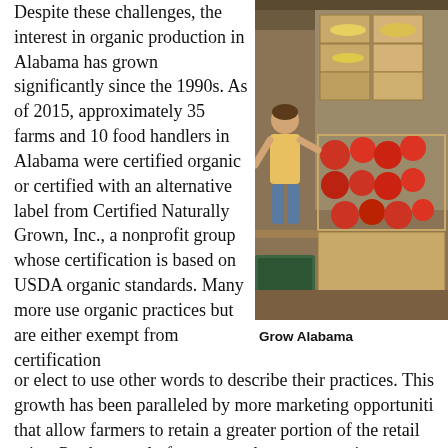Despite these challenges, the interest in organic production in Alabama has grown significantly since the 1990s. As of 2015, approximately 35 farms and 10 food handlers in Alabama were certified organic or certified with an alternative label from Certified Naturally Grown, Inc., a nonprofit group whose certification is based on USDA organic standards. Many more use organic practices but are either exempt from certification or elect to use other words to describe their practices. This growth has been paralleled by more marketing opportunities that allow farmers to retain a greater portion of the retail price. Producer-only farmers markets, community-supported agriculture, online sales, and group marketing efforts have increased markedly in the past few years and allow farmers to sell directly to their customers. Because of this approach
[Figure (photo): Photograph of a person sorting or packing produce (tomatoes, bananas, and other fruits/vegetables) in cardboard boxes inside a warehouse or barn setting. The image is associated with Grow Alabama.]
Grow Alabama